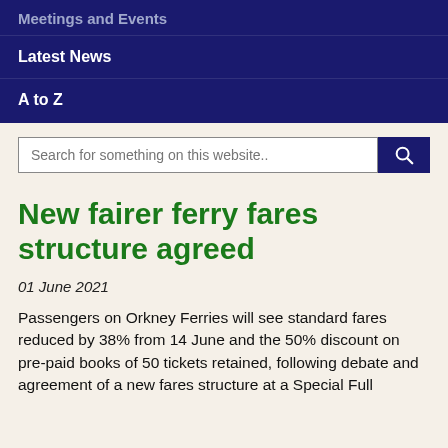Meetings and Events
Latest News
A to Z
New fairer ferry fares structure agreed
01 June 2021
Passengers on Orkney Ferries will see standard fares reduced by 38% from 14 June and the 50% discount on pre-paid books of 50 tickets retained, following debate and agreement of a new fares structure at a Special Full